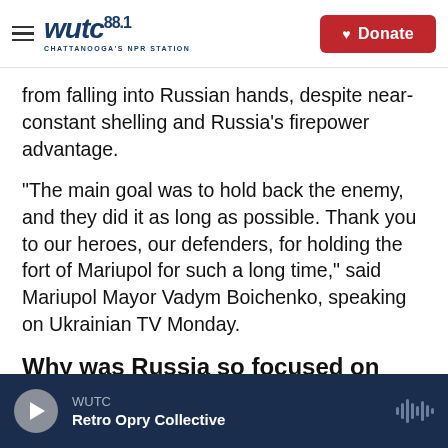WUTC 88.1 CHATTANOOGA'S NPR STATION | Donate
from falling into Russian hands, despite near-constant shelling and Russia’s firepower advantage.
“The main goal was to hold back the enemy, and they did it as long as possible. Thank you to our heroes, our defenders, for holding the fort of Mariupol for such a long time,” said Mariupol Mayor Vadym Boichenko, speaking on Ukrainian TV Monday.
Why was Russia so focused on seizing Mariupol?
WUTC | Retro Opry Collective